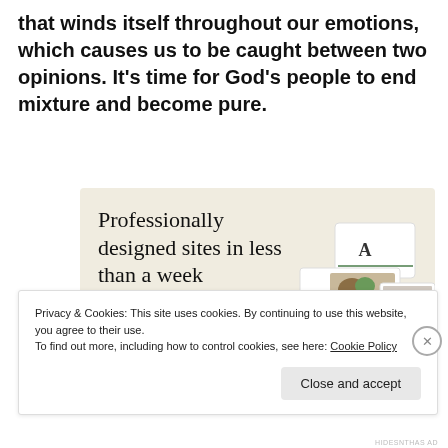that winds itself throughout our emotions, which causes us to be caught between two opinions. It's time for God's people to end mixture and become pure.
[Figure (screenshot): Advertisement for a website design service with text 'Professionally designed sites in less than a week', a green 'Explore options' button, and mockup screenshots of websites on a beige background.]
Privacy & Cookies: This site uses cookies. By continuing to use this website, you agree to their use.
To find out more, including how to control cookies, see here: Cookie Policy
Close and accept